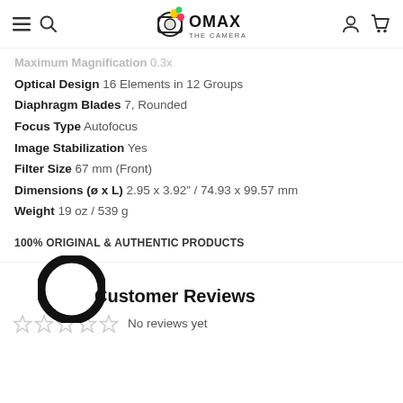OMAX The Camera Shop
Maximum Magnification 0.3x
Optical Design 16 Elements in 12 Groups
Diaphragm Blades 7, Rounded
Focus Type Autofocus
Image Stabilization Yes
Filter Size 67 mm (Front)
Dimensions (ø x L) 2.95 x 3.92" / 74.93 x 99.57 mm
Weight 19 oz / 539 g
100% ORIGINAL & AUTHENTIC PRODUCTS
Customer Reviews
No reviews yet